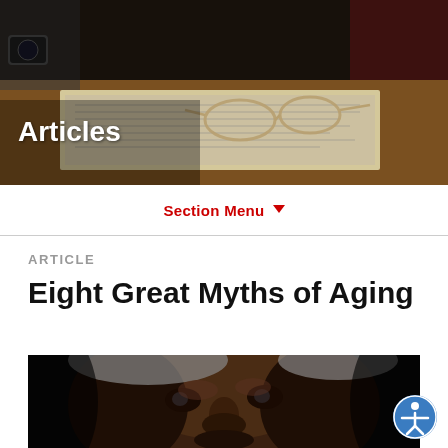[Figure (photo): Hero banner photo showing an elderly person's hands near a newspaper or document, with reading glasses resting on top, a watch visible, and a wooden table surface in the background. Dark, moody tones.]
Articles
Section Menu ▾
ARTICLE
Eight Great Myths of Aging
[Figure (photo): Close-up portrait photo of an elderly Black man with grey hair looking directly at the camera against a dark background.]